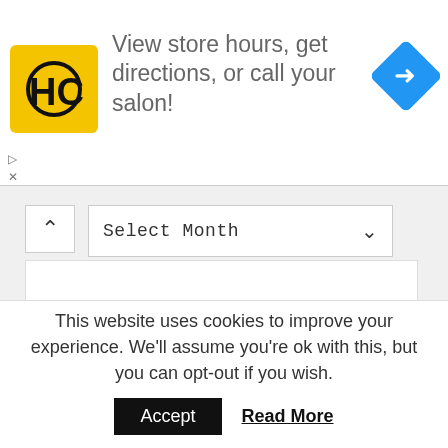[Figure (logo): HC hair salon logo - yellow square with black HC letters, with navigation diamond icon on right]
View store hours, get directions, or call your salon!
Select Month
This website uses cookies to improve your experience. We'll assume you're ok with this, but you can opt-out if you wish.
Accept
Read More